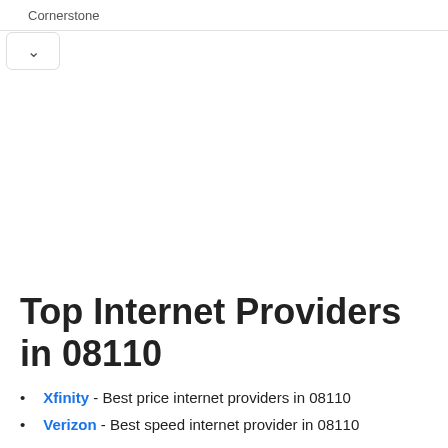Cornerstone
Top Internet Providers in 08110
Xfinity - Best price internet providers in 08110
Verizon - Best speed internet provider in 08110